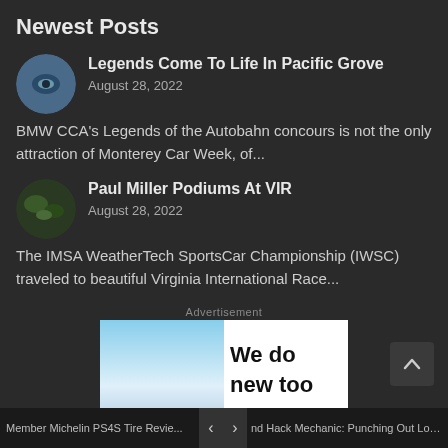Newest Posts
Legends Come To Life In Pacific Grove
August 28, 2022
BMW CCA's Legends of the Autobahn concours is not the only attraction of Monterey Car Week, of...
Paul Miller Podiums At VIR
August 28, 2022
The IMSA WeatherTech SportsCar Championship (IWSC) traveled to beautiful Virginia International Race...
Advertisement
[Figure (other): Advertisement banner: left half shows blue sky background, right half white with bold text 'We do new too']
Member Michelin PS4S Tire Revie... | Hack Mechanic: Punching Out Loui... | '90s or newer.